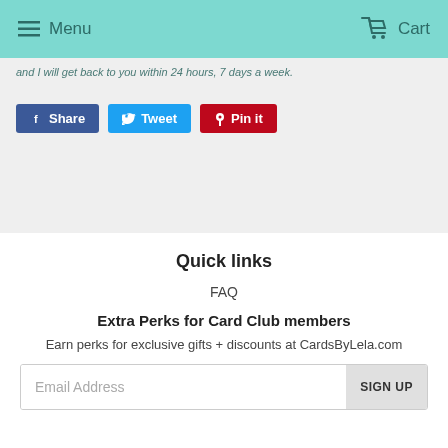Menu  Cart
and I will get back to you within 24 hours, 7 days a week.
[Figure (other): Social share buttons: Share (Facebook), Tweet (Twitter), Pin it (Pinterest)]
Quick links
FAQ
Extra Perks for Card Club members
Earn perks for exclusive gifts + discounts at CardsByLela.com
Email Address  SIGN UP